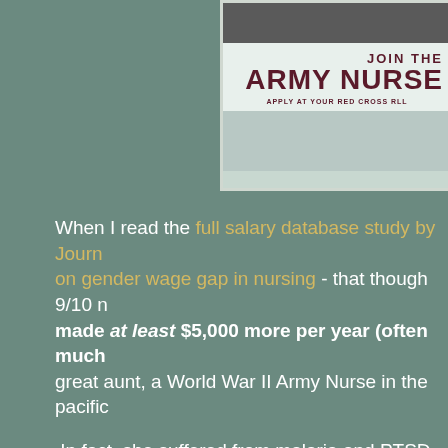[Figure (photo): Partial view of a WWII Army Nurse recruitment poster showing 'JOIN THE ARMY NURSE' text with 'APPLY AT YOUR RED CROSS' text below, on a light colored background with a darker band at top]
When I read the full salary database study by Journ on gender wage gap in nursing - that though 9/10 n made at least $5,000 more per year (often much great aunt, a World War II Army Nurse in the pacific
In fact, she suffered from malaria and PTSD from t she never spoke about.
Though not on the front lines, their medical tents we anyone else in camps - unarmed - which means t